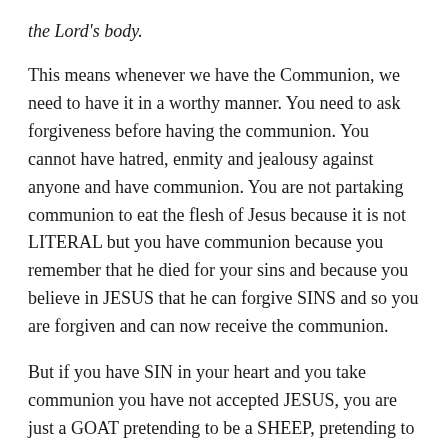the Lord's body.
This means whenever we have the Communion, we need to have it in a worthy manner. You need to ask forgiveness before having the communion. You cannot have hatred, enmity and jealousy against anyone and have communion. You are not partaking communion to eat the flesh of Jesus because it is not LITERAL but you have communion because you remember that he died for your sins and because you believe in JESUS that he can forgive SINS and so you are forgiven and can now receive the communion.
But if you have SIN in your heart and you take communion you have not accepted JESUS, you are just a GOAT pretending to be a SHEEP, pretending to be a Christian to please others. You will be judged for this.